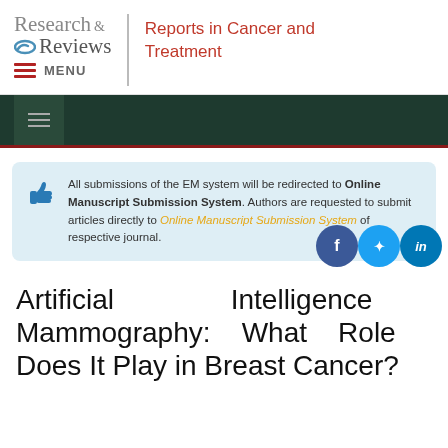Research & Reviews | Reports in Cancer and Treatment
[Figure (screenshot): Dark green navigation bar with hamburger menu icon]
All submissions of the EM system will be redirected to Online Manuscript Submission System. Authors are requested to submit articles directly to Online Manuscript Submission System of respective journal.
Artificial Intelligence Mammography: What Role Does It Play in Breast Cancer?